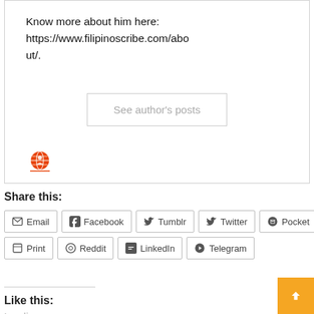Know more about him here: https://www.filipinoscribe.com/about/.
See author's posts
[Figure (illustration): Small red/orange globe icon with a person silhouette]
Share this:
Email
Facebook
Tumblr
Twitter
Pocket
Print
Reddit
LinkedIn
Telegram
Like this:
Loading...